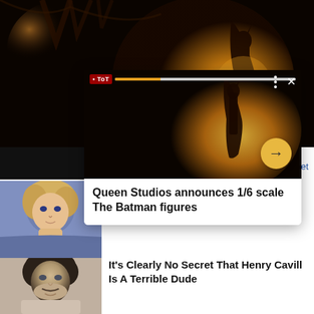[Figure (screenshot): Dark golden-toned Batman movie scene showing a caped figure silhouetted against glowing circular light]
[Figure (screenshot): Popup card overlay showing Batman figure with progress bar, close button, and forward arrow. Contains headline 'Queen Studios announces 1/6 scale The Batman figures']
Queen Studios announces 1/6 scale The Batman figures
[Figure (photo): Headshot of blonde woman (Anne Heche) against blue background]
[Figure (photo): Headshot of dark-haired man (Henry Cavill) looking at camera]
It's Clearly No Secret That Henry Cavill Is A Terrible Dude